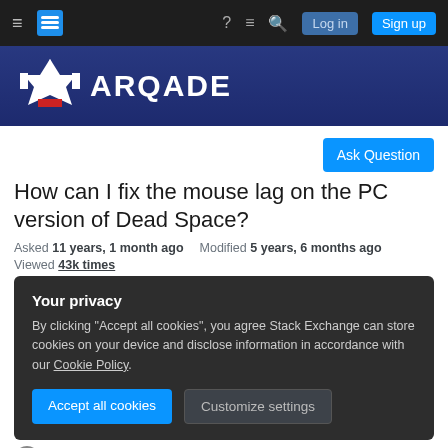Arqade navigation bar with Log in and Sign up buttons
[Figure (logo): Arqade logo with castle/spaceship icon and text ARQADE on dark blue banner]
Ask Question
How can I fix the mouse lag on the PC version of Dead Space?
Asked 11 years, 1 month ago   Modified 5 years, 6 months ago
Viewed 43k times
Your privacy
By clicking "Accept all cookies", you agree Stack Exchange can store cookies on your device and disclose information in accordance with our Cookie Policy.
Accept all cookies
Customize settings